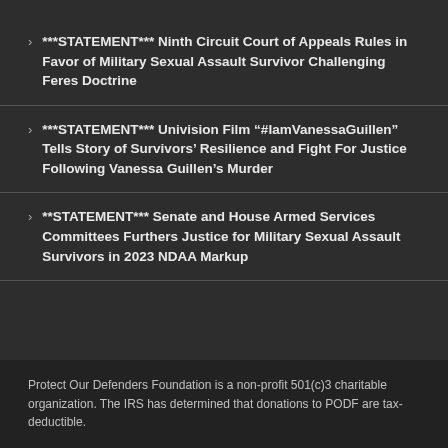***STATEMENT*** Ninth Circuit Court of Appeals Rules in Favor of Military Sexual Assault Survivor Challenging Feres Doctrine
***STATEMENT*** Univision Film “#IamVanessaGuillen” Tells Story of Survivors’ Resilience and Fight For Justice Following Vanessa Guillen’s Murder
**STATEMENT*** Senate and House Armed Services Committees Furthers Justice for Military Sexual Assault Survivors in 2023 NDAA Markup
Protect Our Defenders Foundation is a non-profit 501(c)3 charitable organization. The IRS has determined that donations to PODF are tax-deductible.